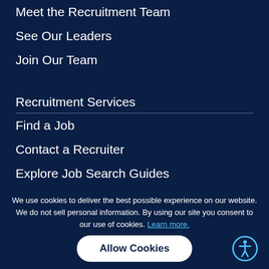Meet the Recruitment Team
See Our Leaders
Join Our Team
Recruitment Services
Find a Job
Contact a Recruiter
Explore Job Search Guides
Read Journal Articles
We use cookies to deliver the best possible experience on our website. We do not sell personal information. By using our site you consent to our use of cookies. Learn more.